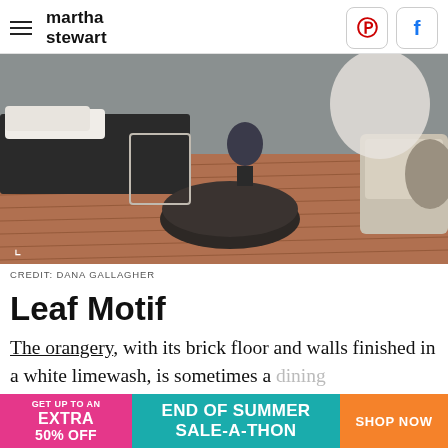martha stewart
[Figure (photo): Interior room with brick floor, a dark daybed with white pillow, a round dark wood coffee table, wicker chairs, potted plants, and white limewashed walls.]
CREDIT: DANA GALLAGHER
Leaf Motif
The orangery, with its brick floor and walls finished in a white limewash, is sometimes a dining room, sometimes a sitting room.
[Figure (other): Advertisement banner: GET UP TO AN EXTRA 50% OFF | END OF SUMMER SALE-A-THON | SHOP NOW]